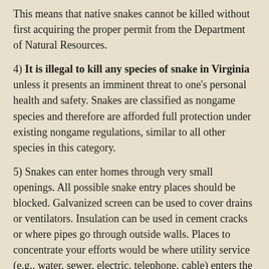This means that native snakes cannot be killed without first acquiring the proper permit from the Department of Natural Resources.
4) It is illegal to kill any species of snake in Virginia unless it presents an imminent threat to one's personal health and safety. Snakes are classified as nongame species and therefore are afforded full protection under existing nongame regulations, similar to all other species in this category.
5) Snakes can enter homes through very small openings. All possible snake entry places should be blocked. Galvanized screen can be used to cover drains or ventilators. Insulation can be used in cement cracks or where pipes go through outside walls. Places to concentrate your efforts would be where utility service (e.g., water, sewer, electric, telephone, cable) enters the home; where the clothes dryer vent exits the building; around doors, windows, and bulkheads to the basement or garage (including the gap under a large garage door); and where the house sits on its foundation.